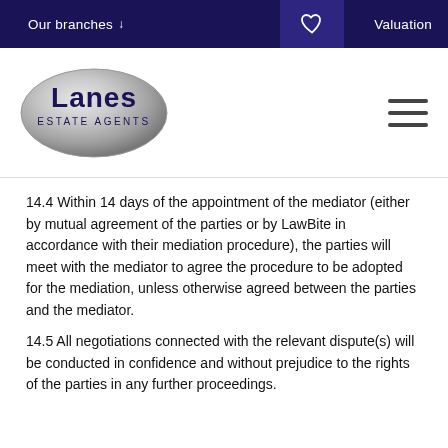Our branches ↓   Valuation
[Figure (logo): Lanes Estate Agents oval silver logo with dark blue text]
14.4 Within 14 days of the appointment of the mediator (either by mutual agreement of the parties or by LawBite in accordance with their mediation procedure), the parties will meet with the mediator to agree the procedure to be adopted for the mediation, unless otherwise agreed between the parties and the mediator.
14.5 All negotiations connected with the relevant dispute(s) will be conducted in confidence and without prejudice to the rights of the parties in any further proceedings.